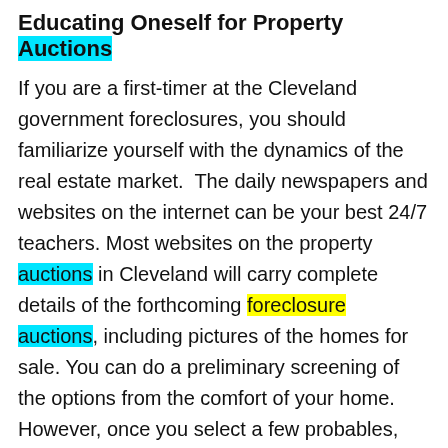Educating Oneself for Property Auctions
If you are a first-timer at the Cleveland government foreclosures, you should familiarize yourself with the dynamics of the real estate market.  The daily newspapers and websites on the internet can be your best 24/7 teachers. Most websites on the property auctions in Cleveland will carry complete details of the forthcoming foreclosure auctions, including pictures of the homes for sale. You can do a preliminary screening of the options from the comfort of your home. However, once you select a few probables, you ought to make personal site visits to see if you would need to carry out any repairs later